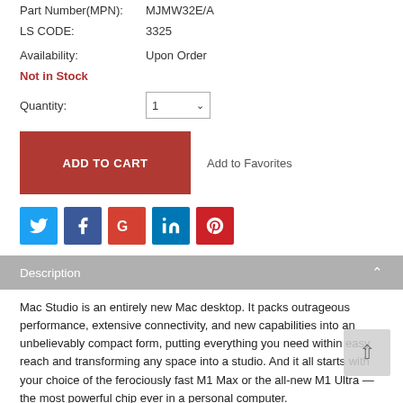Part Number(MPN): MJMW32E/A
LS CODE: 3325
Availability: Upon Order
Not in Stock
Quantity: 1
[Figure (screenshot): ADD TO CART button and Add to Favorites link]
[Figure (infographic): Social media share icons: Twitter, Facebook, Google, LinkedIn, Pinterest]
Description
Mac Studio is an entirely new Mac desktop. It packs outrageous performance, extensive connectivity, and new capabilities into an unbelievably compact form, putting everything you need within easy reach and transforming any space into a studio. And it all starts with your choice of the ferociously fast M1 Max or the all-new M1 Ultra — the most powerful chip ever in a personal computer.